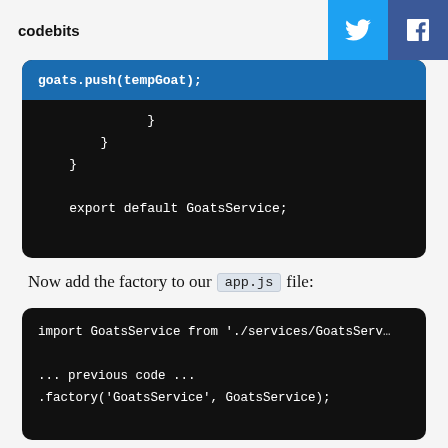codebits
[Figure (screenshot): Dark code block showing closing braces and 'export default GoatsService;' with a highlighted line 'goats.push(tempGoat);' at top]
Now add the factory to our app.js file:
[Figure (screenshot): Dark code block showing: import GoatsService from './services/GoatsServ... previous code ... .factory('GoatsService', GoatsService);]